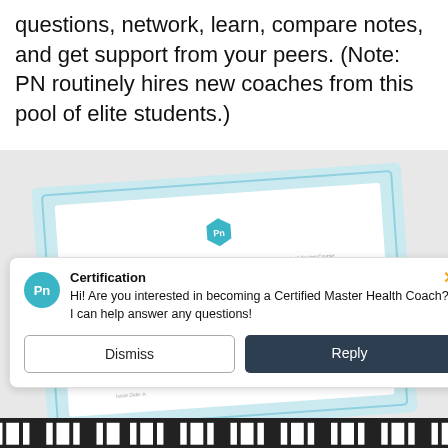questions, network, learn, compare notes, and get support from your peers. (Note: PN routinely hires new coaches from this pool of elite students.)
[Figure (photo): A PN L2 Master Health Coaching certificate with light blue decorative border, featuring the Pn hexagonal logo, the text 'PN L2 Master Health Coaching', and a signature, shown at a slight angle.]
[Figure (screenshot): A chat popup widget with the Pn teal circular icon, title 'Certification', message 'Hi! Are you interested in becoming a Certified Master Health Coach? I can help answer any questions!', a Dismiss button, and a Reply button. An orange X close button is in the top right.]